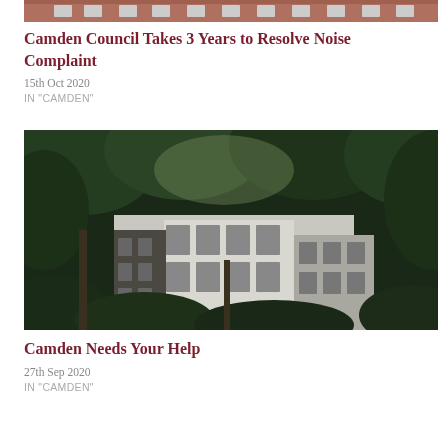[Figure (photo): Partial top view of a red brick building with white-framed windows, cropped at top of page.]
Camden Council Takes 3 Years to Resolve Noise Complaint
15th Oct 2020
IN "CAMDEN"
[Figure (photo): Photograph of Georgian-style white and dark brick buildings in Camden viewed through large green trees in the foreground.]
Camden Needs Your Help
27th Sep 2020
IN "CAMDEN"